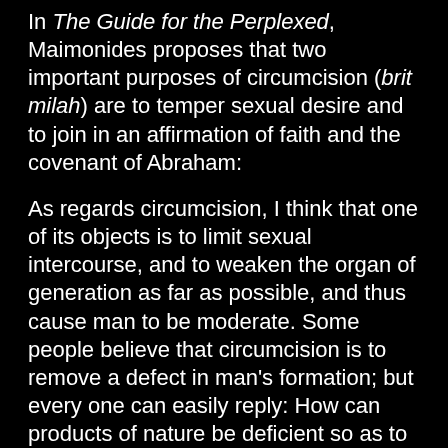In The Guide for the Perplexed, Maimonides proposes that two important purposes of circumcision (brit milah) are to temper sexual desire and to join in an affirmation of faith and the covenant of Abraham:
As regards circumcision, I think that one of its objects is to limit sexual intercourse, and to weaken the organ of generation as far as possible, and thus cause man to be moderate. Some people believe that circumcision is to remove a defect in man's formation; but every one can easily reply: How can products of nature be deficient so as to require external completion, especially as the use of the fore-skin to that organ is evident. This commandment has not been enjoined as a complement to a deficient physical creation, but as a means for perfecting